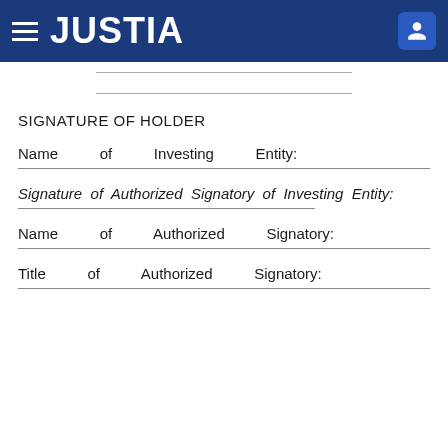JUSTIA
SIGNATURE OF HOLDER
Name of Investing Entity:
Signature of Authorized Signatory of Investing Entity:
Name of Authorized Signatory:
Title of Authorized Signatory: